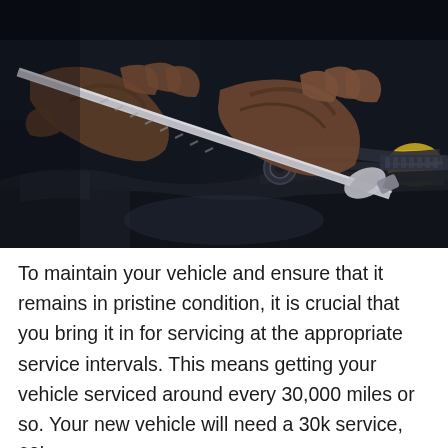[Figure (photo): Close-up photograph of a mechanic's hands using a wrench/ratchet tool on a vehicle engine, working on automotive components in a dark workshop setting]
To maintain your vehicle and ensure that it remains in pristine condition, it is crucial that you bring it in for servicing at the appropriate service intervals. This means getting your vehicle serviced around every 30,000 miles or so. Your new vehicle will need a 30k service, 60k